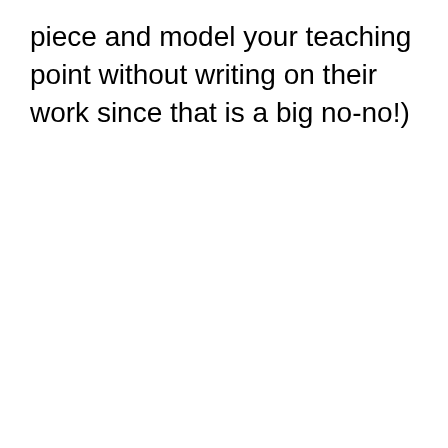piece and model your teaching point without writing on their work since that is a big no-no!)